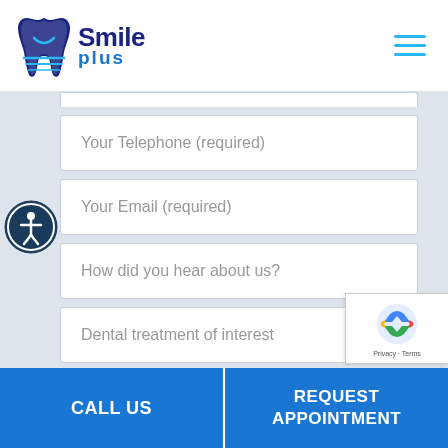[Figure (logo): Smile Plus dental clinic logo with tooth icon in blue and indigo, text says Smile with plus below]
Your Telephone (required)
Your Email (required)
How did you hear about us?
Dental treatment of interest
CALL US
REQUEST APPOINTMENT